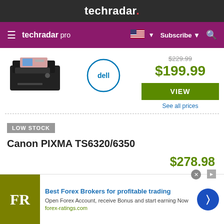techradar.
techradar pro  Subscribe
[Figure (photo): Canon printer product image, small black inkjet printer]
[Figure (logo): Dell logo - circular blue outline with Dell text]
$229.99
$199.99
VIEW
See all prices
LOW STOCK
Canon PIXMA TS6320/6350
$278.98
Best Forex Brokers for profitable trading
Open Forex Account, receive Bonus and start earning Now
forex-ratings.com